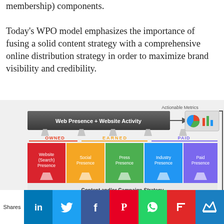membership) components. Today's WPO model emphasizes the importance of fusing a solid content strategy with a comprehensive online distribution strategy in order to maximize brand visibility and credibility.
[Figure (infographic): WPO model diagram showing Web Presence + Website Activity at the top feeding into Actionable Metrics icons (pie chart and bar chart). Below are three sections: OWNED (red/orange), EARNED (green/blue), PAID (purple), with columns: Website (Search) Presence, Social Presence, Press Presence, Industry Presence, Paid Presence. All feeding upward via arrows. Bottom section shows Content and/or Campaign Strategy (Type of content + frequency) with arrows pointing up, and at the bottom: Audiences | Competitors | Topics | Keywords | Tactics with an arrow pointing left.]
Shares [LinkedIn] [Twitter] [Facebook] [Pinterest] [WhatsApp] [Flipboard] [Crown]